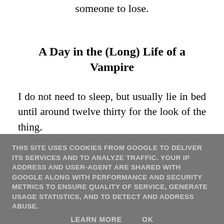someone to lose.
A Day in the (Long) Life of a Vampire
I do not need to sleep, but usually lie in bed until around twelve thirty for the look of the thing.
THIS SITE USES COOKIES FROM GOOGLE TO DELIVER ITS SERVICES AND TO ANALYZE TRAFFIC. YOUR IP ADDRESS AND USER-AGENT ARE SHARED WITH GOOGLE ALONG WITH PERFORMANCE AND SECURITY METRICS TO ENSURE QUALITY OF SERVICE, GENERATE USAGE STATISTICS, AND TO DETECT AND ADDRESS ABUSE.
LEARN MORE    OK